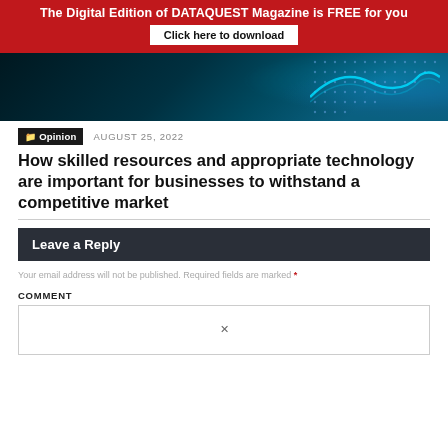The Digital Edition of DATAQUEST Magazine is FREE for you | Click here to download
[Figure (photo): Abstract technology hero image with blue glowing wave and dot matrix on dark background]
Opinion   AUGUST 25, 2022
How skilled resources and appropriate technology are important for businesses to withstand a competitive market
Leave a Reply
Your email address will not be published. Required fields are marked *
COMMENT